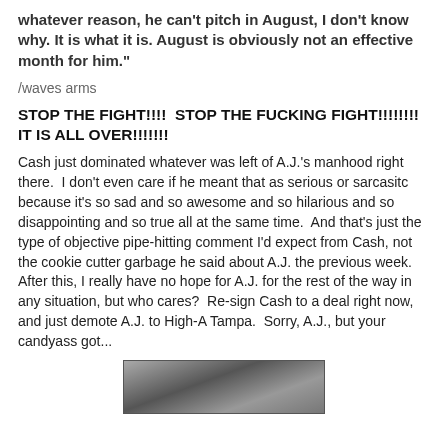whatever reason, he can't pitch in August, I don't know why. It is what it is. August is obviously not an effective month for him."
/waves arms
STOP THE FIGHT!!!!  STOP THE FUCKING FIGHT!!!!!!!!  IT IS ALL OVER!!!!!!!
Cash just dominated whatever was left of A.J.'s manhood right there.  I don't even care if he meant that as serious or sarcasitc because it's so sad and so awesome and so hilarious and so disappointing and so true all at the same time.  And that's just the type of objective pipe-hitting comment I'd expect from Cash, not the cookie cutter garbage he said about A.J. the previous week.  After this, I really have no hope for A.J. for the rest of the way in any situation, but who cares?  Re-sign Cash to a deal right now, and just demote A.J. to High-A Tampa.  Sorry, A.J., but your candyass got...
[Figure (photo): Partial view of a black and white or grayscale photograph, appears to show a person, cropped at bottom of page]